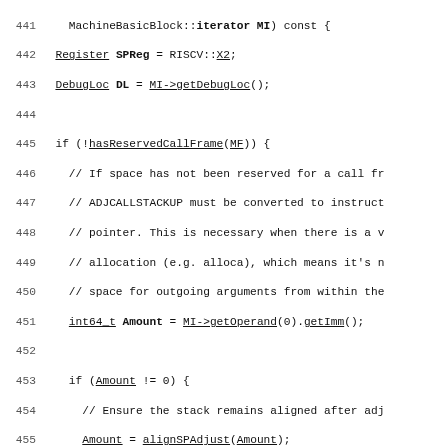Code listing lines 441-470, C++ source code for RISC-V stack frame lowering